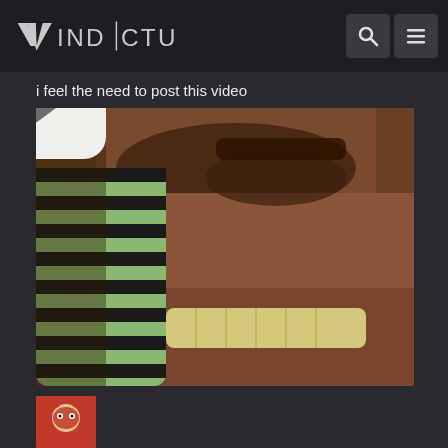VINDICTUS
i feel the need to post this video
[Figure (screenshot): Video thumbnail showing a close-up of a man singing into a vintage microphone, with a white YouTube-style play button overlay in the center]
[Figure (photo): Small avatar image of a cartoon devil/wrestler character in red]